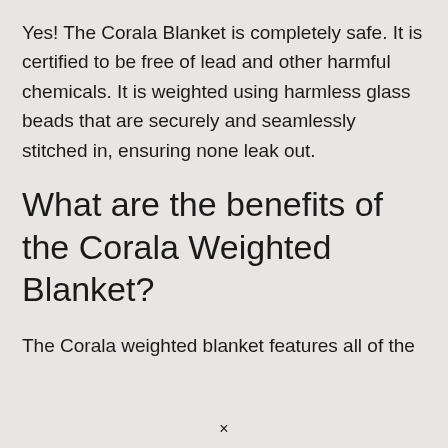Yes! The Corala Blanket is completely safe. It is certified to be free of lead and other harmful chemicals. It is weighted using harmless glass beads that are securely and seamlessly stitched in, ensuring none leak out.
What are the benefits of the Corala Weighted Blanket?
The Corala weighted blanket features all of the
×